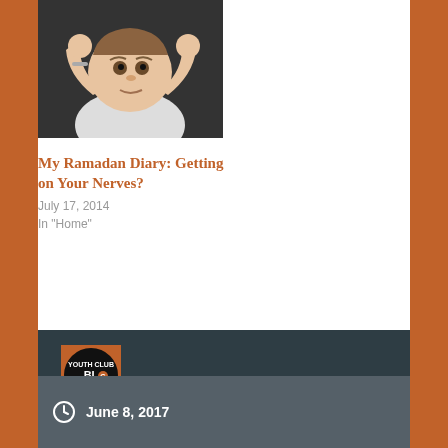[Figure (photo): Photo of a baby/toddler with hands raised to head, making a frustrated expression, wearing a white outfit and bracelet, dark background]
My Ramadan Diary: Getting on Your Nerves?
July 17, 2014
In "Home"
Published by Youth Club Blog
View all posts by Youth Club Blog
June 8, 2017